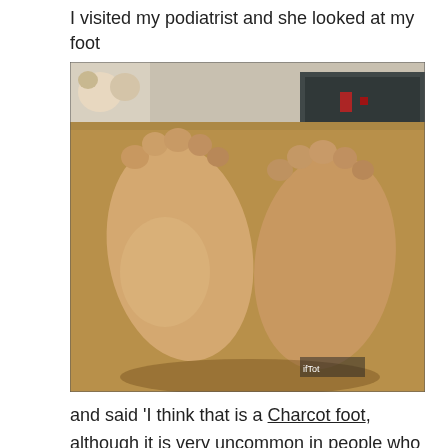I visited my podiatrist and she looked at my foot
[Figure (photo): Close-up photograph of two swollen feet raised up, with a room visible in the background including stuffed animals and electronics]
and said 'I think that is a Charcot foot, although it is very uncommon in people who are not diabetic'.
She arranged a test for diabetes which came back negative, and wrote a letter to my GP and my regular orthopaedic surgeon with her concerns.
Things moved on quite quickly then and after several appointments, X-rays etc, I was diagnosed with a Charcot joint. The antibiotics which I had been taking for a couple of weeks were dropped, however I still had